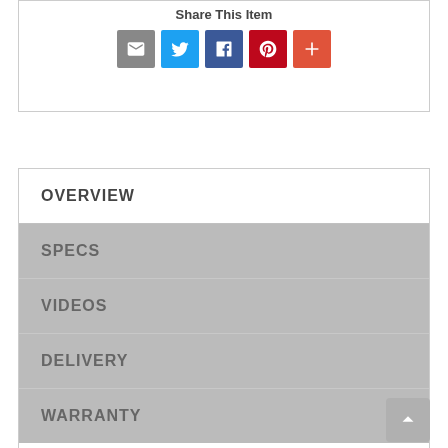Share This Item
[Figure (infographic): Social sharing icons: email (grey), Twitter (blue), Facebook (dark blue), Pinterest (red), More/Plus (orange-red)]
OVERVIEW
SPECS
VIDEOS
DELIVERY
WARRANTY
Double your pleasure with this cool and contemporary sectional that distinguishes itself with dual fabric treatment. Wrapped in a feel good